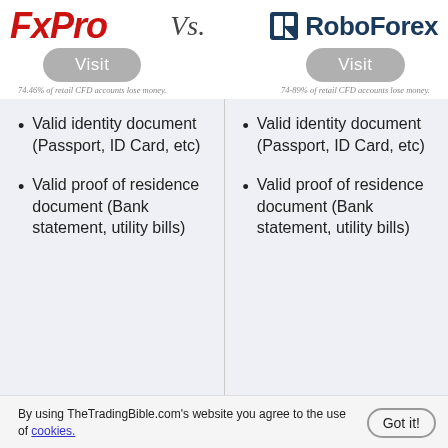[Figure (logo): FxPro logo in red italic bold text]
[Figure (logo): RoboForex logo with icon and dark blue text]
Vs.
Visit
Visit
74.46% of retail CFD accounts lose money.
74-89% of retail CFD accounts lose money.
Valid identity document (Passport, ID Card, etc)
Valid identity document (Passport, ID Card, etc)
Valid proof of residence document (Bank statement, utility bills)
Valid proof of residence document (Bank statement, utility bills)
By using TheTradingBible.com's website you agree to the use of cookies.